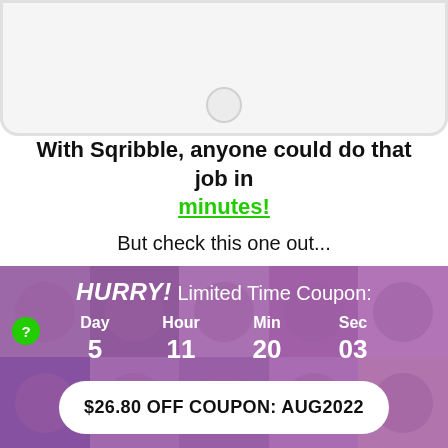[Figure (illustration): Bottom of a smartphone/phone mockup showing the home button]
With Sqribble, anyone could do that job in minutes!
But check this one out...
This person posted a job with a budget of $1,000 to design and layout their ebook!
DON'T YOU THINK YOU COULD ACCEPT THESE GIGS AND COMPLETE THEM IN RECORD TIME USING SQRIBBLE?!
[Figure (infographic): Purple banner with face photos in background showing a countdown timer: Day 5, Hour 11, Min 20, Sec 03, with HURRY! Limited Time Coupon text and a $26.80 OFF COUPON: AUG2022 pill button]